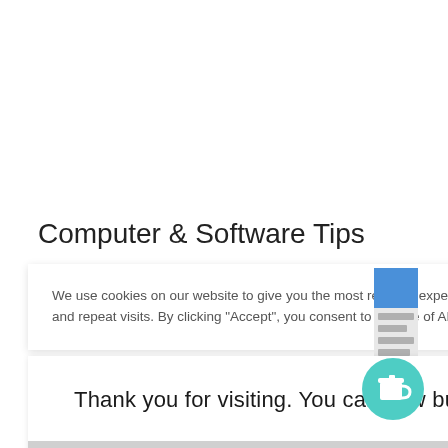Computer & Software Tips
We use cookies on our website to give you the most relevant experience by remembering your preferences and repeat visits. By clicking “Accept”, you consent to the use of ALL the cookies.
[Figure (screenshot): Partial screenshot of a website sidebar with a blue header element and grey content lines]
Thank you for visiting. You can now buy me a coffee!
[Figure (illustration): Teal circular button with a coffee cup icon]